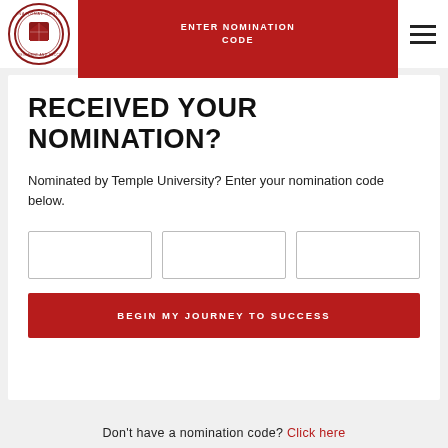[Figure (logo): Circular seal/logo of a national registry organization with crest and text around border]
ENTER NOMINATION CODE
[Figure (other): Hamburger menu icon (three horizontal lines)]
RECEIVED YOUR NOMINATION?
Nominated by Temple University? Enter your nomination code below.
BEGIN MY JOURNEY TO SUCCESS
Don't have a nomination code? Click here